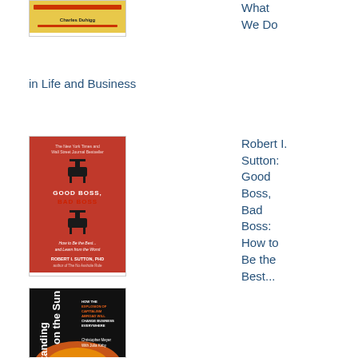[Figure (illustration): Book cover: Charles Duhigg book with yellow cover — The Power of Habit: Why We Do What We Do in Life and Business]
What We Do in Life and Business
[Figure (illustration): Book cover: Robert I. Sutton Good Boss, Bad Boss — red cover showing chair silhouettes]
Robert I. Sutton: Good Boss, Bad Boss: How to Be the Best... and Learn from the Worst
[Figure (illustration): Book cover: Standing on the Sun — How the Explosion of Capitalism Abroad Will Change Business Everywhere by Christopher Meyer with Julia Kirby, dark cover with sun image]